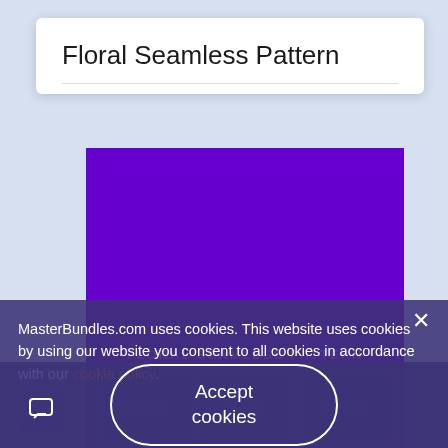Floral Seamless Pattern
[Figure (illustration): Purple rectangle serving as a product image placeholder for the Floral Seamless Pattern product on MasterBundles.com, with a watermark text 'FLORAL SEAMLESS PATTERN' and thumbnail strip below]
MasterBundles.com uses cookies. This website uses cookies by using our website you consent to all cookies in accordance with our cookie policy.
Accept cookies